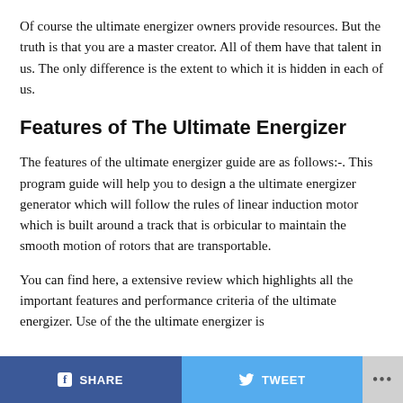Of course the ultimate energizer owners provide resources. But the truth is that you are a master creator. All of them have that talent in us. The only difference is the extent to which it is hidden in each of us.
Features of The Ultimate Energizer
The features of the ultimate energizer guide are as follows:-. This program guide will help you to design a the ultimate energizer generator which will follow the rules of linear induction motor which is built around a track that is orbicular to maintain the smooth motion of rotors that are transportable.
You can find here, a extensive review which highlights all the important features and performance criteria of the ultimate energizer. Use of the the ultimate energizer is
SHARE   TWEET   ...